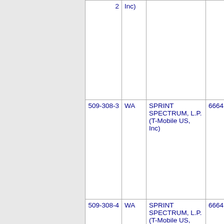| Number | State | Name | Code |
| --- | --- | --- | --- |
| 2 | Inc) |  |  |
| 509-308-3 | WA | SPRINT SPECTRUM, L.P. (T-Mobile US, Inc) | 6664 |
| 509-308-4 | WA | SPRINT SPECTRUM, L.P. (T-Mobile US, Inc) | 6664 |